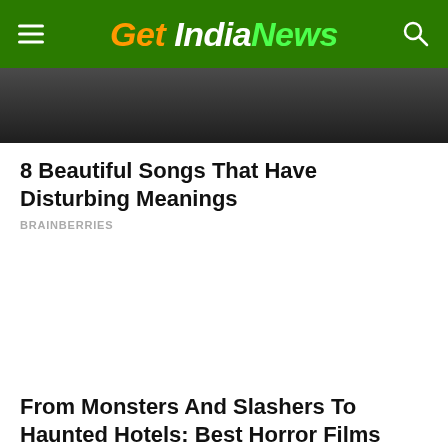Get India News
[Figure (photo): Dark photo partially cropped at top of page, showing people/crowd scene]
8 Beautiful Songs That Have Disturbing Meanings
BRAINBERRIES
[Figure (photo): White/blank advertisement space]
From Monsters And Slashers To Haunted Hotels: Best Horror Films
BRAINBERRIES